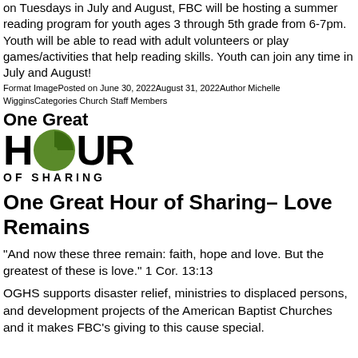on Tuesdays in July and August, FBC will be hosting a summer reading program for youth ages 3 through 5th grade from 6-7pm. Youth will be able to read with adult volunteers or play games/activities that help reading skills. Youth can join any time in July and August!
Format ImagePosted on June 30, 2022August 31, 2022Author Michelle WigginsCategories Church Staff Members
[Figure (logo): One Great Hour of Sharing logo with green pie-chart circle replacing the O in HOUR]
One Great Hour of Sharing– Love Remains
“And now these three remain: faith, hope and love. But the greatest of these is love.” 1 Cor. 13:13
OGHS supports disaster relief, ministries to displaced persons, and development projects of the American Baptist Churches and it makes FBC’s giving to this cause special.